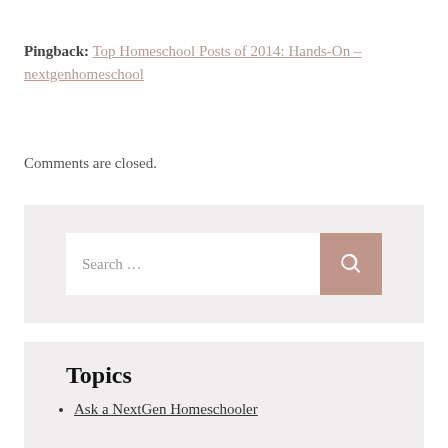Pingback: Top Homeschool Posts of 2014: Hands-On - nextgenhomeschool
Comments are closed.
[Figure (other): Search widget with text input field labeled 'Search ...' and a mauve/rose colored search button with magnifying glass icon]
Topics
Ask a NextGen Homeschooler